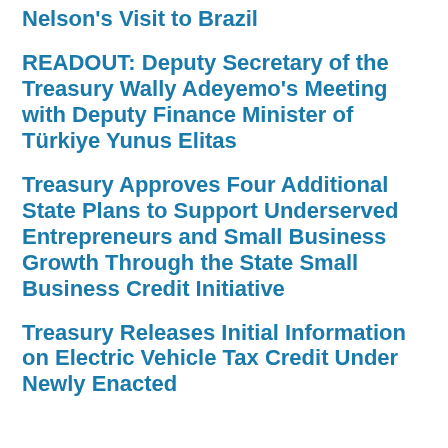Nelson's Visit to Brazil
READOUT: Deputy Secretary of the Treasury Wally Adeyemo's Meeting with Deputy Finance Minister of Türkiye Yunus Elitas
Treasury Approves Four Additional State Plans to Support Underserved Entrepreneurs and Small Business Growth Through the State Small Business Credit Initiative
Treasury Releases Initial Information on Electric Vehicle Tax Credit Under Newly Enacted